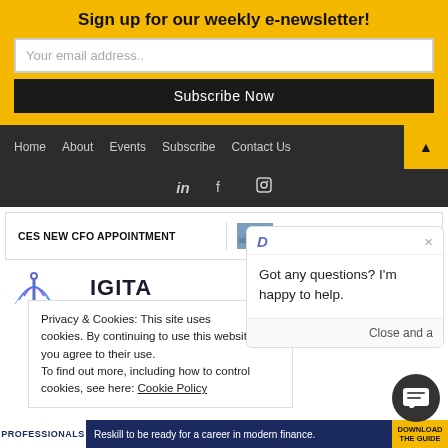Sign up for our weekly e-newsletter!
Your email address..
Subscribe Now
Home  About  Events  Subscribe  Contact Us
CES NEW CFO APPOINTMENT
POWER GRID CORPORATION APP
[Figure (screenshot): Partial website logo showing DIGITA text with arc/signal icon in blue/purple]
Got any questions? I'm happy to help.
Privacy & Cookies: This site uses cookies. By continuing to use this website, you agree to their use. To find out more, including how to control cookies, see here: Cookie Policy
Close and a...
Reskill to be ready for a career in modern finance.